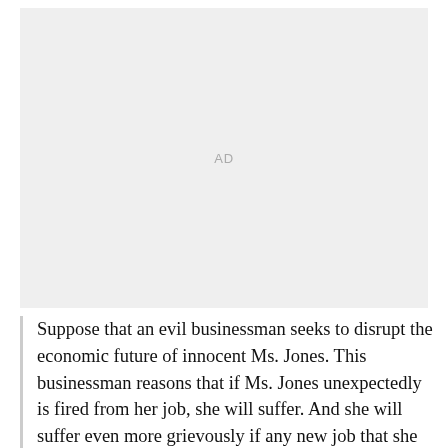[Figure (other): Advertisement placeholder box with 'AD' label centered in a light gray rectangle]
Suppose that an evil businessman seeks to disrupt the economic future of innocent Ms. Jones. This businessman reasons that if Ms. Jones unexpectedly is fired from her job, she will suffer. And she will suffer even more grievously if any new job that she finds pays her less than the job she lost. So Evil Businessman hires Ms. Jones at a salary well above her true market